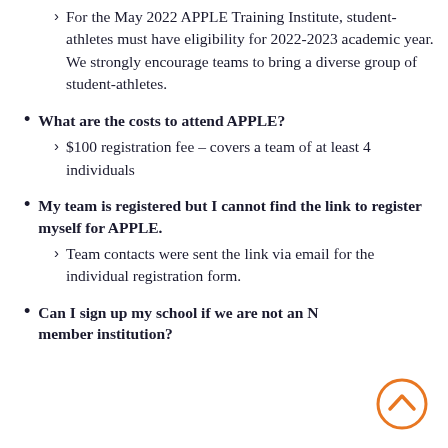For the May 2022 APPLE Training Institute, student-athletes must have eligibility for 2022-2023 academic year.  We strongly encourage teams to bring a diverse group of student-athletes.
What are the costs to attend APPLE?
$100 registration fee – covers a team of at least 4 individuals
My team is registered but I cannot find the link to register myself for APPLE.
Team contacts were sent the link via email for the individual registration form.
Can I sign up my school if we are not an N member institution?